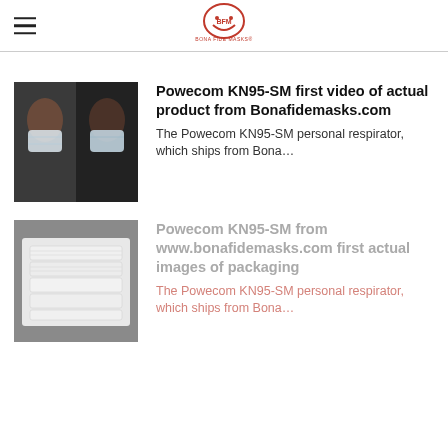BONA FIDE MASKS®
[Figure (photo): Person wearing a KN95 mask, split image]
Powecom KN95-SM first video of actual product from Bonafidemasks.com
The Powecom KN95-SM personal respirator, which ships from Bona…
[Figure (photo): Powecom KN95-SM masks in packaging, laid flat]
Powecom KN95-SM from www.bonafidemasks.com first actual images of packaging
The Powecom KN95-SM personal respirator, which ships from Bona…